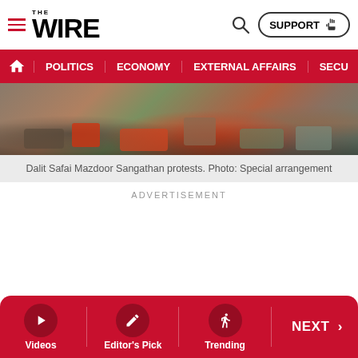THE WIRE — SUPPORT
POLITICS  ECONOMY  EXTERNAL AFFAIRS  SECU
[Figure (photo): Dalit Safai Mazdoor Sangathan protest scene showing people sitting on a brick-paved ground, some in red clothing.]
Dalit Safai Mazdoor Sangathan protests. Photo: Special arrangement
ADVERTISEMENT
Videos  Editor's Pick  Trending  NEXT >